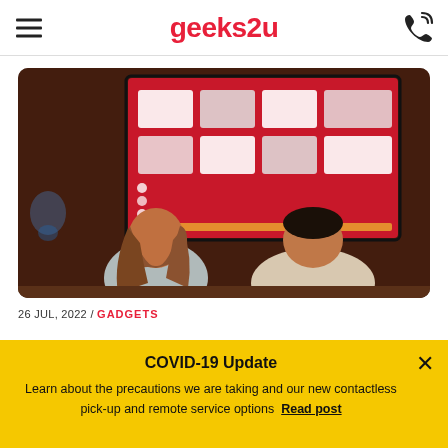geeks2u
[Figure (photo): Two people viewed from behind sitting together watching a large Smart TV on a brick wall showing a red streaming interface with app icons and thumbnails]
26 JUL, 2022 / GADGETS
COVID-19 Update
Learn about the precautions we are taking and our new contactless pick-up and remote service options  Read post